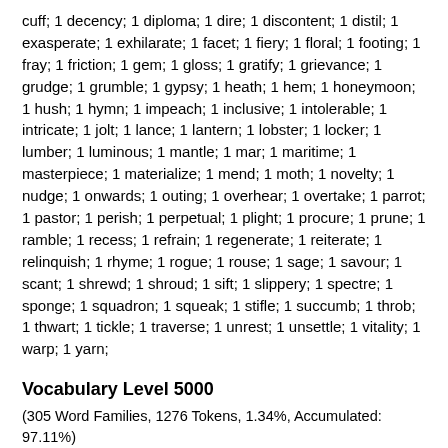cuff; 1 decency; 1 diploma; 1 dire; 1 discontent; 1 distil; 1 exasperate; 1 exhilarate; 1 facet; 1 fiery; 1 floral; 1 footing; 1 fray; 1 friction; 1 gem; 1 gloss; 1 gratify; 1 grievance; 1 grudge; 1 grumble; 1 gypsy; 1 heath; 1 hem; 1 honeymoon; 1 hush; 1 hymn; 1 impeach; 1 inclusive; 1 intolerable; 1 intricate; 1 jolt; 1 lance; 1 lantern; 1 lobster; 1 locker; 1 lumber; 1 luminous; 1 mantle; 1 mar; 1 maritime; 1 masterpiece; 1 materialize; 1 mend; 1 moth; 1 novelty; 1 nudge; 1 onwards; 1 outing; 1 overhear; 1 overtake; 1 parrot; 1 pastor; 1 perish; 1 perpetual; 1 plight; 1 procure; 1 prune; 1 ramble; 1 recess; 1 refrain; 1 regenerate; 1 reiterate; 1 relinquish; 1 rhyme; 1 rogue; 1 rouse; 1 sage; 1 savour; 1 scant; 1 shrewd; 1 shroud; 1 sift; 1 slippery; 1 spectre; 1 sponge; 1 squadron; 1 squeak; 1 stifle; 1 succumb; 1 throb; 1 thwart; 1 tickle; 1 traverse; 1 unrest; 1 unsettle; 1 vitality; 1 warp; 1 yarn;
Vocabulary Level 5000
(305 Word Families, 1276 Tokens, 1.34%, Accumulated: 97.11%)
52 splendid; 40 recite; 38 dreadful; 37 asylum; 35 picnic; 30 orphan; 27 puff; 25 solemn; 25 temper; 21 blossom; 21 sorrow; 19 clasp; 15 dye; 14 presently; 13 chatter; 13 vow; 12 grove; 12 handkerchief; 11 ranch; 11 recite; 11 dismay; 11 dusk;